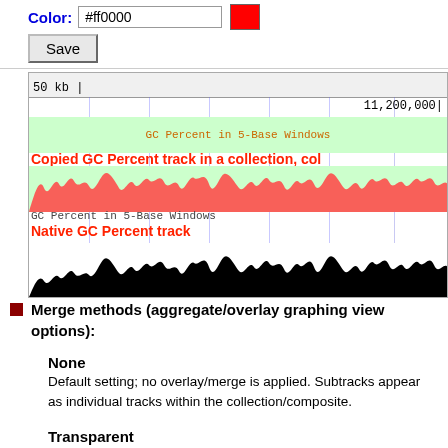[Figure (screenshot): Genome browser color input field showing #ff0000 with red color swatch and Save button]
[Figure (screenshot): Genome browser tracks showing GC Percent in 5-Base Windows: copied track in red and native GC Percent track in black, with scale 50kb and coordinate 11,200,000]
Merge methods (aggregate/overlay graphing view options):
None
Default setting; no overlay/merge is applied. Subtracks appear as individual tracks within the collection/composite.
Transparent